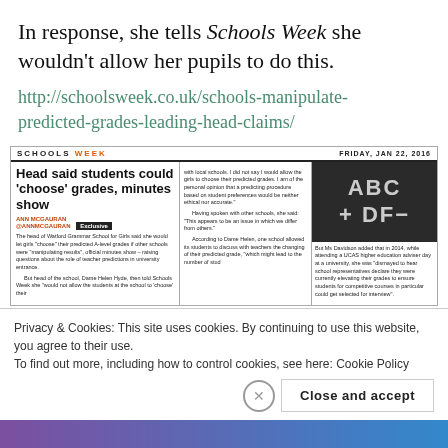In response, she tells Schools Week she wouldn't allow her pupils to do this.
http://schoolsweek.co.uk/schools-manipulate-predicted-grades-leading-head-claims/
[Figure (screenshot): Screenshot of Schools Week newspaper article: 'Head said students could ‘choose’ grades, minutes show' with byline ANN MCGAURAN, dated FRIDAY, JAN 22, 2016. Contains article text and a chalkboard image with ABC + DF-]
Privacy & Cookies: This site uses cookies. By continuing to use this website, you agree to their use. To find out more, including how to control cookies, see here: Cookie Policy
Close and accept